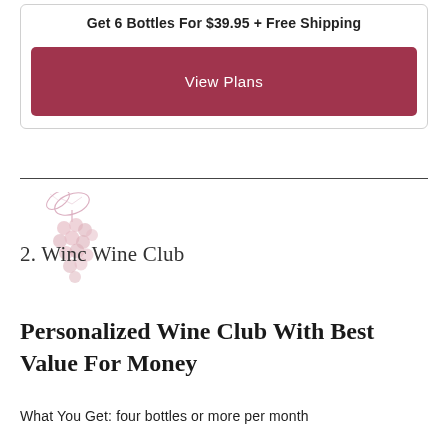Get 6 Bottles For $39.95 + Free Shipping
View Plans
2. Winc Wine Club
[Figure (illustration): Decorative faded pink/rose grape cluster illustration]
Personalized Wine Club With Best Value For Money
What You Get: four bottles or more per month